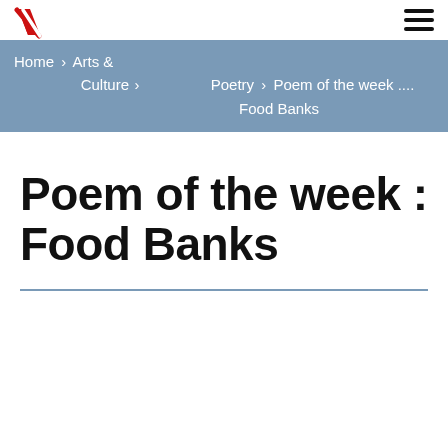[Figure (logo): Red slash/check mark logo in top left corner]
Home > Arts & Culture > Poetry > Poem of the week .... Food Banks
Poem of the week : Food Banks